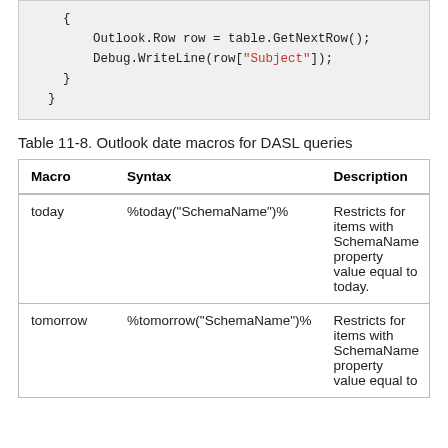[Figure (screenshot): Code block showing C# code: { Outlook.Row row = table.GetNextRow(); Debug.WriteLine(row["Subject"]); } }]
Table 11-8. Outlook date macros for DASL queries
| Macro | Syntax | Description |
| --- | --- | --- |
| today | %today("SchemaName")% | Restricts for items with SchemaName property value equal to today. |
| tomorrow | %tomorrow("SchemaName")% | Restricts for items with SchemaName property value equal to |